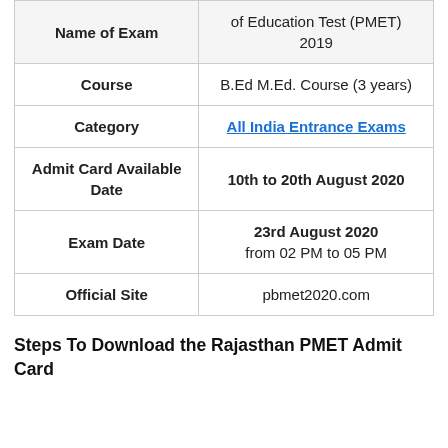| Name of Exam | of Education Test (PMET) 2019 |
| --- | --- |
| Course | B.Ed M.Ed. Course (3 years) |
| Category | All India Entrance Exams |
| Admit Card Available Date | 10th to 20th August 2020 |
| Exam Date | 23rd August 2020
from 02 PM to 05 PM |
| Official Site | pbmet2020.com |
Steps To Download the Rajasthan PMET Admit Card